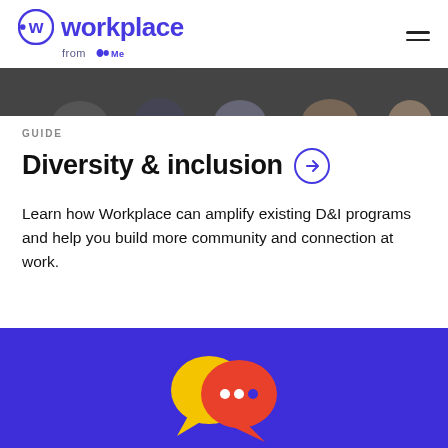Workplace from Meta
[Figure (photo): Partial hero image showing people, cropped at top]
GUIDE
Diversity & inclusion →
Learn how Workplace can amplify existing D&I programs and help you build more community and connection at work.
[Figure (illustration): Colorful speech bubble chat icon on purple background — yellow and orange/red overlapping circles with white dots]